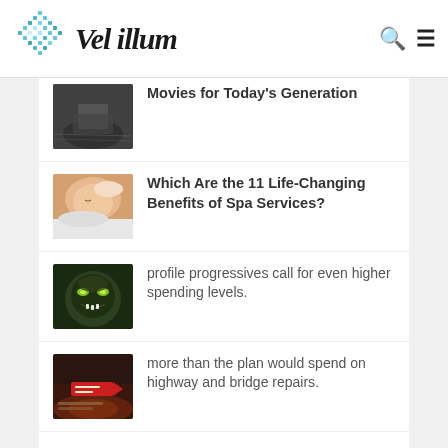Vel illum
[Figure (photo): Partial thumbnail of a dark, black and white movie-style scene]
Movies for Today's Generation
[Figure (photo): Person receiving a back massage at a spa]
Which Are the 11 Life-Changing Benefits of Spa Services?
[Figure (photo): Dark, horror-style monster face with glowing eyes]
profile progressives call for even higher spending levels.
[Figure (photo): Dark atmospheric scene with a red directional sign]
more than the plan would spend on highway and bridge repairs.
high-profile progressives call for even higher spending levels.